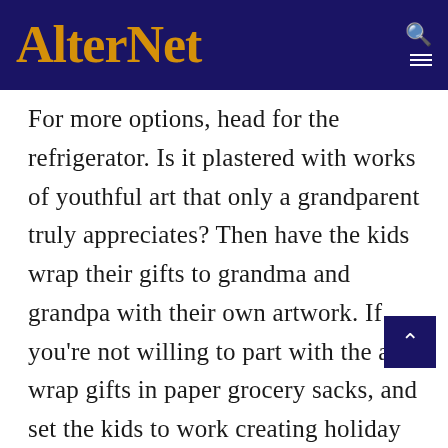AlterNet
For more options, head for the refrigerator. Is it plastered with works of youthful art that only a grandparent truly appreciates? Then have the kids wrap their gifts to grandma and grandpa with their own artwork. If you're not willing to part with the art, wrap gifts in paper grocery sacks, and set the kids to work creating holiday originals with markers and crayons. Just don't be surprised when the folks ooh and aah over the wrapping more than the gift. But even if they're not enraptured by the artistry, they can simply recycle the packaging after you and the